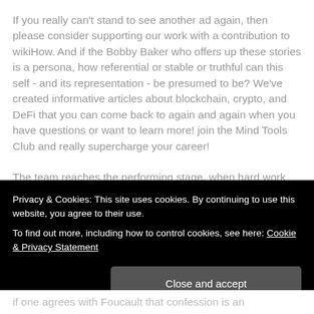If you really can't stand to see another ad again, then please consider supporting our work with a contribution to wikiHow. And if the Bobby Baker who offers up these stories is a persona, how referential or stable or truthful can this self - and its representation - be presumed to be? We've created informative articles about blockchain, crypto, and DeFi that you can come back to again and again when you have questions or want to learn more! join the Mind Tools Club and really supercharge your career!
The team reaches the performing stage, when hard work leads, without friction, to the achievement of the team's goal. Follow the steps below to ensure that you're doing
Privacy & Cookies: This site uses cookies. By continuing to use this website, you agree to their use.
To find out more, including how to control cookies, see here: Cookie & Privacy Statement
Close and accept
if one agrees with Foucault that confession is an